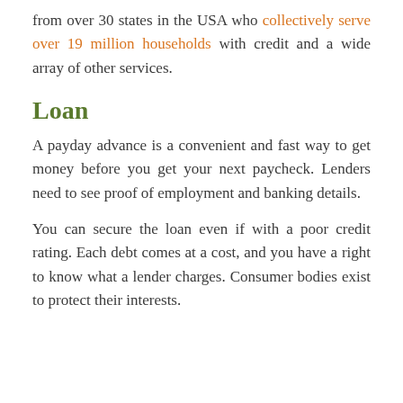from over 30 states in the USA who collectively serve over 19 million households with credit and a wide array of other services.
Loan
A payday advance is a convenient and fast way to get money before you get your next paycheck. Lenders need to see proof of employment and banking details.
You can secure the loan even if with a poor credit rating. Each debt comes at a cost, and you have a right to know what a lender charges. Consumer bodies exist to protect their interests.